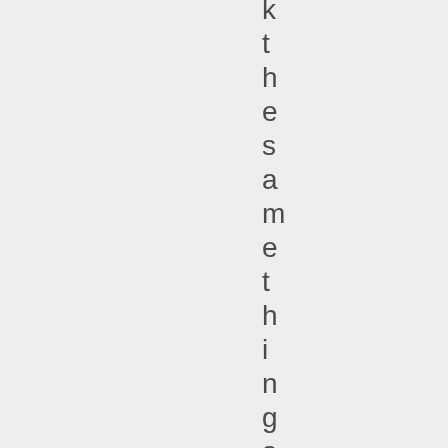k t h e s a m e t h i n g a l o